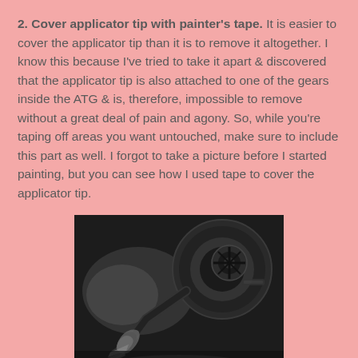2. Cover applicator tip with painter's tape. It is easier to cover the applicator tip than it is to remove it altogether. I know this because I've tried to take it apart & discovered that the applicator tip is also attached to one of the gears inside the ATG & is, therefore, impossible to remove without a great deal of pain and agony. So, while you're taping off areas you want untouched, make sure to include this part as well. I forgot to take a picture before I started painting, but you can see how I used tape to cover the applicator tip.
[Figure (photo): Black and white close-up photograph of an ATG tape dispenser/gun with painter's tape covering the applicator tip, shown from above on a dark surface.]